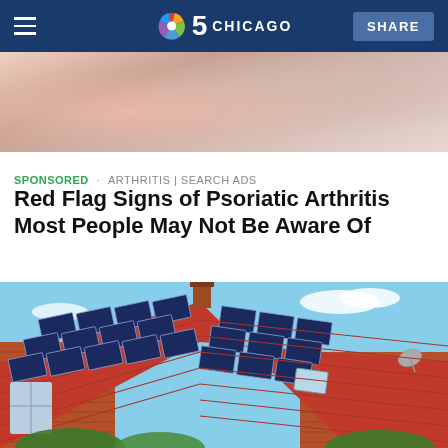NBC 5 Chicago — SHARE
[Figure (photo): Close-up blurred photo of hands/fingers, pinkish tones]
SPONSORED · ARTHRITIS | SEARCH ADS
Red Flag Signs of Psoriatic Arthritis Most People May Not Be Aware Of
[Figure (photo): Brick house with solar panels on a red tiled roof, blue sky in background]